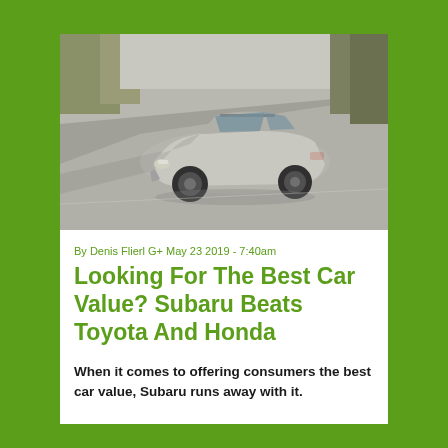[Figure (photo): Aerial/side view of a silver Subaru crossover SUV driving on a road with trees in the background]
By Denis Flierl G+ May 23 2019 - 7:40am
Looking For The Best Car Value? Subaru Beats Toyota And Honda
When it comes to offering consumers the best car value, Subaru runs away with it.